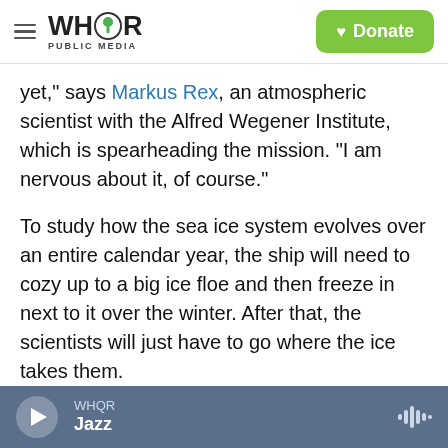WHQR PUBLIC MEDIA — Donate
yet," says Markus Rex, an atmospheric scientist with the Alfred Wegener Institute, which is spearheading the mission. "I am nervous about it, of course."
To study how the sea ice system evolves over an entire calendar year, the ship will need to cozy up to a big ice floe and then freeze in next to it over the winter. After that, the scientists will just have to go where the ice takes them.
"The selection of the starting point is really the main parameter that determines how the
WHQR Jazz